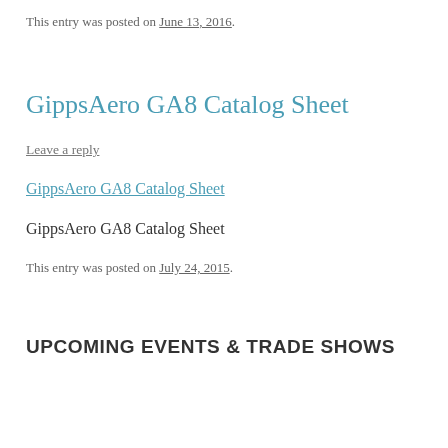This entry was posted on June 13, 2016.
GippsAero GA8 Catalog Sheet
Leave a reply
GippsAero GA8 Catalog Sheet
GippsAero GA8 Catalog Sheet
This entry was posted on July 24, 2015.
UPCOMING EVENTS & TRADE SHOWS